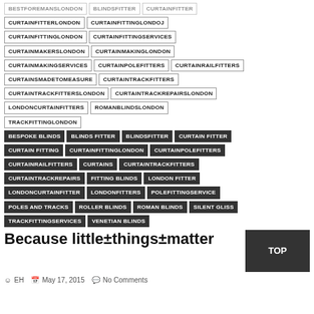BESTFOREMANSLONDON | BLINDSFITTER | CURTAINFITTER
CURTAINFITTERLONDON | CURTAINFITTINGLONDOJ
CURTAINFITTINGLONDON | CURTAINFITTINGSERVICES
CURTAINMAKERSLONDON | CURTAINMAKINGLONDON
CURTAINMAKINGSERVICES | CURTAINPOLEFITTERS | CURTAINRAILFITTERS
CURTAINSMADETOMEASURE | CURTAINTRACKFITTERS
CURTAINTRACKFITTERSLONDON | CURTAINTRACKREPAIRSLONDON
LONDONCURTAINFITTERS | ROMANBLINDSLONDON
TRACKFITTINGLONDON
BESPOKE BLINDS | BLINDS FITTER | BLINDSFITTER | CURTAIN FITTER
CURTAIN FITTING | CURTAINFITTINGLONDON | CURTAINPOLEFITTERS
CURTAINRAILFITTERS | CURTAINS | CURTAINTRACKFITTERS
CURTAINTRACKREPAIRS | FITTING BLINDS | LONDON FITTER
LONDONCURTAINFITTER | LONDONFITTERS | POLEFITTINGSERVICE
POLES AND TRACKS | ROLLER BLINDS | ROMAN BLINDS | SILENT GLISS
TRACKFITTINGSERVICES | VENETIAN BLINDS
Because little±things±matter
EH  May 17, 2015  No Comments